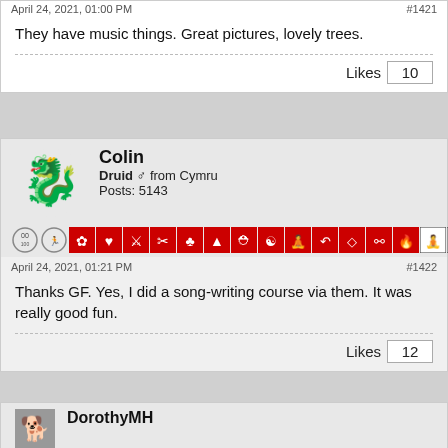April 24, 2021, 01:00 PM    #1421
They have music things. Great pictures, lovely trees.
Likes  10
Colin
Druid ♂ from Cymru
Posts: 5143
April 24, 2021, 01:21 PM    #1422
Thanks GF. Yes, I did a song-writing course via them. It was really good fun.
Likes  12
DorothyMH